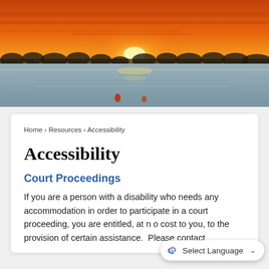[Figure (photo): Sunset over water with orange and yellow sky, silhouette of treeline on horizon, calm water below]
Home › Resources › Accessibility
Accessibility
Court Proceedings
If you are a person with a disability who needs any accommodation in order to participate in a court proceeding, you are entitled, at no cost to you, to the provision of certain assistance. Please contact